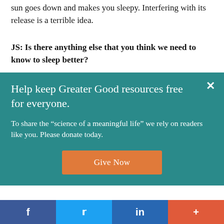sun goes down and makes you sleepy. Interfering with its release is a terrible idea.
JS: Is there anything else that you think we need to know to sleep better?
Help keep Greater Good resources free for everyone.
To share the “science of a meaningful life” we rely on readers like you. Please donate today.
Give Now
f  Twitter  in  +